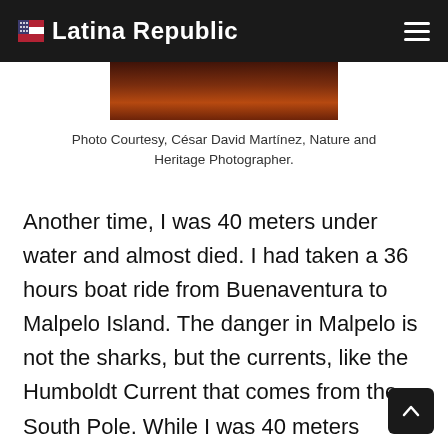Latina Republic
[Figure (photo): Bottom portion of a nature/underwater photograph with warm orange-red tones, partially cropped at the top of the content area.]
Photo Courtesy, César David Martínez, Nature and Heritage Photographer.
Another time, I was 40 meters under water and almost died. I had taken a 36 hours boat ride from Buenaventura to Malpelo Island. The danger in Malpelo is not the sharks, but the currents, like the Humboldt Current that comes from the South Pole. While I was 40 meters underwater, I was caught by an intense current. While holding the camera in one hand, I made a very serious mistake and did not have the life line between the